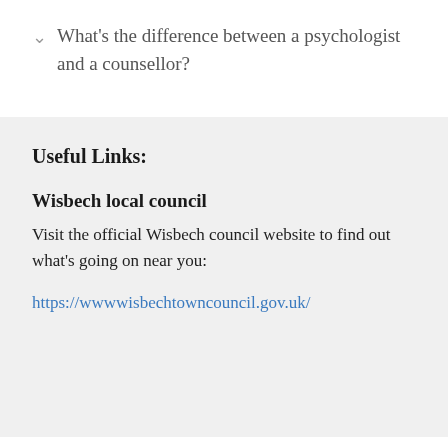What's the difference between a psychologist and a counsellor?
Useful Links:
Wisbech local council
Visit the official Wisbech council website to find out what's going on near you:
https://wwwwisbechtowncouncil.gov.uk/